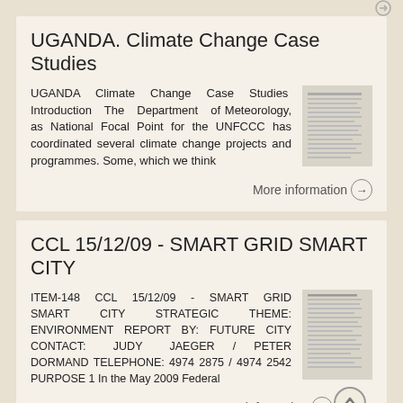UGANDA. Climate Change Case Studies
UGANDA Climate Change Case Studies Introduction The Department of Meteorology, as National Focal Point for the UNFCCC has coordinated several climate change projects and programmes. Some, which we think
[Figure (screenshot): Thumbnail image of a document page with text lines]
More information →
CCL 15/12/09 - SMART GRID SMART CITY
ITEM-148 CCL 15/12/09 - SMART GRID SMART CITY STRATEGIC THEME: ENVIRONMENT REPORT BY: FUTURE CITY CONTACT: JUDY JAEGER / PETER DORMAND TELEPHONE: 4974 2875 / 4974 2542 PURPOSE 1 In the May 2009 Federal
[Figure (screenshot): Thumbnail image of a document page with text lines]
More information →